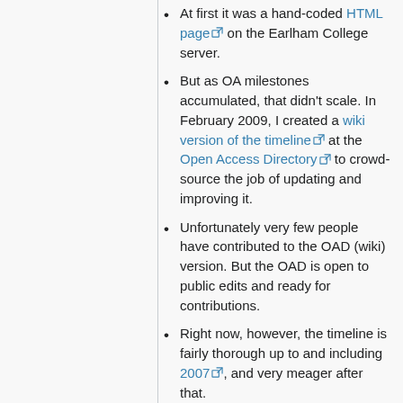At first it was a hand-coded HTML page on the Earlham College server.
But as OA milestones accumulated, that didn't scale. In February 2009, I created a wiki version of the timeline at the Open Access Directory to crowd-source the job of updating and improving it.
Unfortunately very few people have contributed to the OAD (wiki) version. But the OAD is open to public edits and ready for contributions.
Right now, however, the timeline is fairly thorough up to and including 2007, and very meager after that.